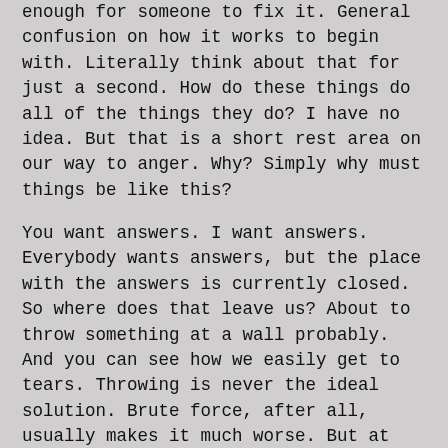enough for someone to fix it. General confusion on how it works to begin with. Literally think about that for just a second. How do these things do all of the things they do? I have no idea. But that is a short rest area on our way to anger. Why? Simply why must things be like this?
You want answers. I want answers. Everybody wants answers, but the place with the answers is currently closed. So where does that leave us? About to throw something at a wall probably. And you can see how we easily get to tears. Throwing is never the ideal solution. Brute force, after all, usually makes it much worse. But at the end of the day, hole in the wall or not, we are frustrated to the point of literal, or metaphorical, tears.
Alright, jumping off my pedestal for now. If you know someone who would enjoy this post and want to share it with them, that would be awesome. Sharing is caring, after all. Don’t forget to subscribe to get these in your inbox